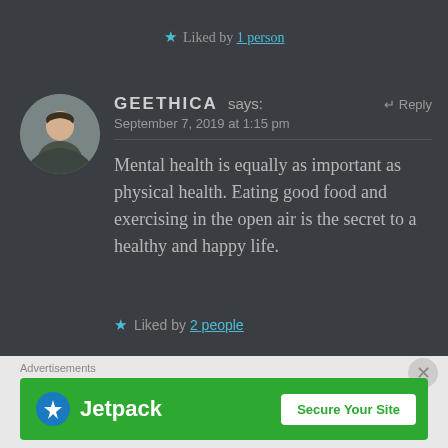★ Liked by 1 person
GEETHICA says:    ↵ Reply
September 7, 2019 at 1:15 pm
Mental health is equally as important as physical health. Eating good food and exercising in the open air is the secret to a healthy and happy life.
★ Liked by 2 people
[Figure (other): Advertisements banner - Jetpack 'Secure Your Site' green ad banner with Jetpack logo]